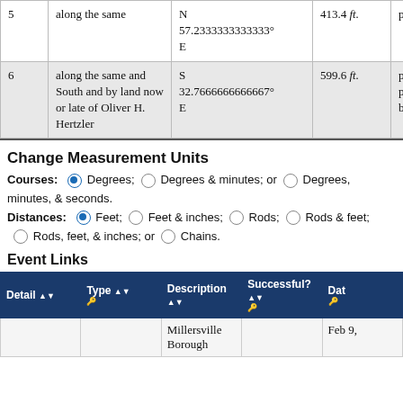| # | Direction | Course | Distance | Terminus |
| --- | --- | --- | --- | --- |
| 5 | along the same | N 57.2333333333333° E | 413.4 ft. | point |
| 6 | along the same and South and by land now or late of Oliver H. Hertzler | S 32.7666666666667° E | 599.6 ft. | point, the place of beginni |
Change Measurement Units
Courses: Degrees; Degrees & minutes; or Degrees, minutes, & seconds. Distances: Feet; Feet & inches; Rods; Rods & feet; Rods, feet, & inches; or Chains.
Event Links
| Detail | Type | Description | Successful? | Dat |
| --- | --- | --- | --- | --- |
|  |  | Millersville Borough |  | Feb 9, |